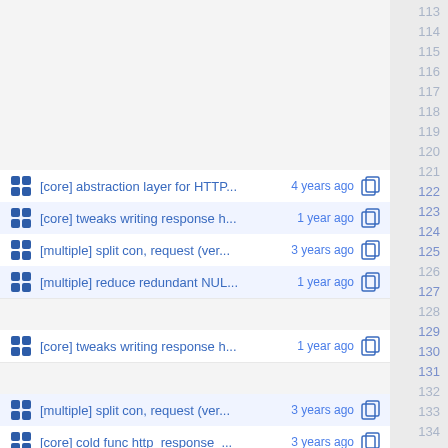[core] abstraction layer for HTTP... 4 years ago | 122
[core] tweaks writing response h... 1 year ago | 123
[multiple] split con, request (ver... 3 years ago | 124
[multiple] reduce redundant NUL... 1 year ago | 125
[core] tweaks writing response h... 1 year ago | 127
[multiple] split con, request (ver... 3 years ago | 129
[core] cold func http_response_... 3 years ago | 130
[multiple] optimize primitives, bu... 1 year ago | 131